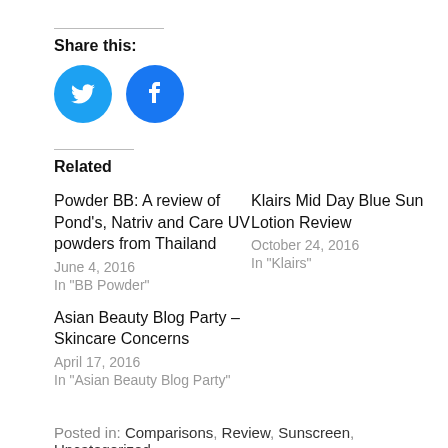Share this:
[Figure (other): Twitter and Facebook share buttons (circular blue icons)]
Related
Powder BB: A review of Pond's, Natriv and Care UV powders from Thailand
June 4, 2016
In "BB Powder"
Klairs Mid Day Blue Sun Lotion Review
October 24, 2016
In "Klairs"
Asian Beauty Blog Party – Skincare Concerns
April 17, 2016
In "Asian Beauty Blog Party"
Posted in: Comparisons, Review, Sunscreen, Uncategorized